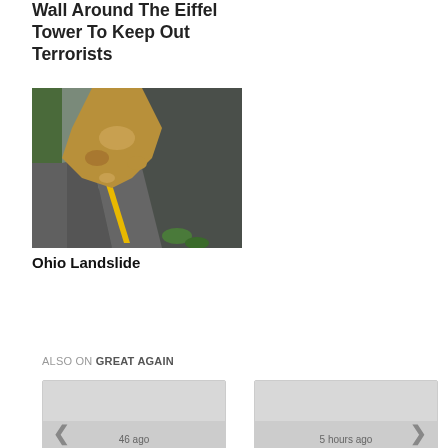The French Are Building A Wall Around The Eiffel Tower To Keep Out Terrorists
[Figure (photo): Aerial view of a landslide covering a road, with rocks and debris flowing from a rocky hillside onto the asphalt road below.]
Ohio Landslide
ALSO ON GREAT AGAIN
[Figure (photo): Thumbnail card with left arrow navigation, showing partially visible timestamp text at bottom]
[Figure (photo): Thumbnail card with right arrow navigation, showing partially visible timestamp text at bottom]